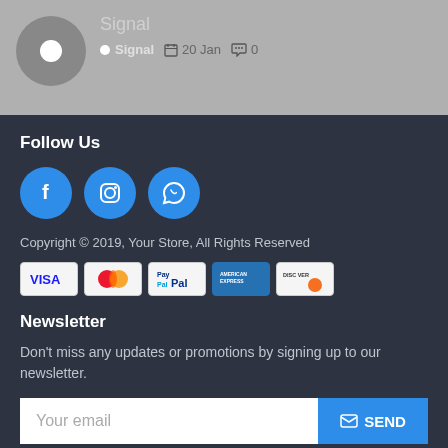[Figure (screenshot): Blog post header with Signal avatar circle, title 'Signal 　　', date '20 Jan', and comment count '0' on gray background]
Follow Us
[Figure (infographic): Three blue circular social media icon buttons: Facebook (f), Instagram (camera), WhatsApp (phone)]
Copyright © 2019, Your Store, All Rights Reserved
[Figure (infographic): Payment method icons: VISA, Mastercard, PayPal, American Express, Discover]
Newsletter
Don't miss any updates or promotions by signing up to our newsletter.
[Figure (infographic): Email signup form with 'Your email' placeholder input and blue 'SEND' button with envelope icon]
I have read and agree to the Privacy Policy